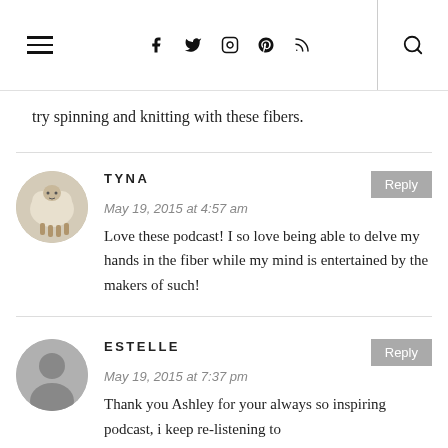Navigation bar with hamburger menu, social icons (facebook, twitter, instagram, pinterest, rss), and search icon
try spinning and knitting with these fibers.
TYNA
May 19, 2015 at 4:57 am
Love these podcast! I so love being able to delve my hands in the fiber while my mind is entertained by the makers of such!
ESTELLE
May 19, 2015 at 7:37 pm
Thank you Ashley for your always so inspiring podcast, i keep re-listening to